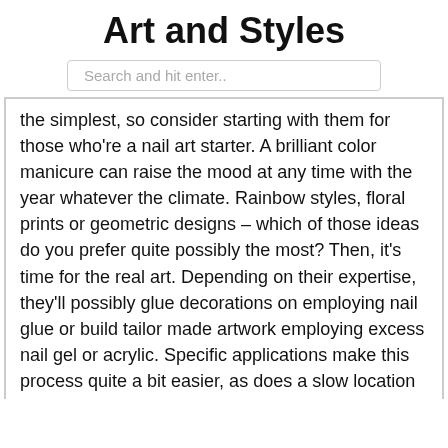Art and Styles
Search and hit enter..
the simplest, so consider starting with them for those who're a nail art starter. A brilliant color manicure can raise the mood at any time with the year whatever the climate. Rainbow styles, floral prints or geometric designs – which of those ideas do you prefer quite possibly the most? Then, it's time for the real art. Depending on their expertise, they'll possibly glue decorations on employing nail glue or build tailor made artwork employing excess nail gel or acrylic. Specific applications make this process quite a bit easier, as does a slow location merchandise. You'll be able to recreate these geometric patterns with the assistance of tape. Paint your nails in white for the base. Then, Reduce up strips of tape and adhere them having said that you want so which they appear like geometrical designs. This is among my favorites. Glitter fade nail art is straightforward, fairly, and elegant! You will require a peachy shade and also a gold glitter polish for this manicure. Utilize the peach as the base. Steph defined, "I painted her nails with two coats of Empower-Mint within the